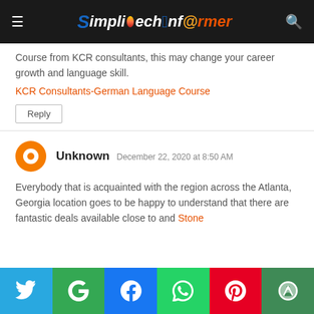SimplitechInformer
Course from KCR consultants, this may change your career growth and language skill.
KCR Consultants-German Language Course
Reply
Unknown  December 22, 2020 at 8:50 AM
Everybody that is acquainted with the region across the Atlanta, Georgia location goes to be happy to understand that there are fantastic deals available close to and Stone